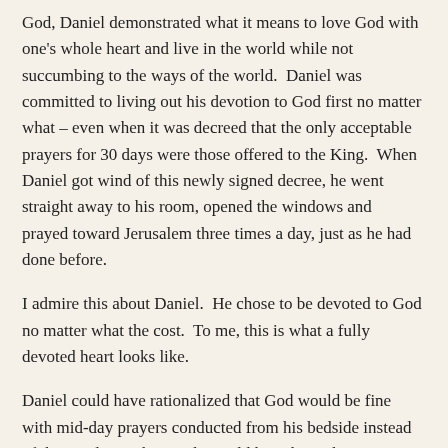God, Daniel demonstrated what it means to love God with one's whole heart and live in the world while not succumbing to the ways of the world.  Daniel was committed to living out his devotion to God first no matter what – even when it was decreed that the only acceptable prayers for 30 days were those offered to the King.  When Daniel got wind of this newly signed decree, he went straight away to his room, opened the windows and prayed toward Jerusalem three times a day, just as he had done before.
I admire this about Daniel.  He chose to be devoted to God no matter what the cost.  To me, this is what a fully devoted heart looks like.
Daniel could have rationalized that God would be fine with mid-day prayers conducted from his bedside instead of the window.  The words would have been the same — what is the difference where they are prayed?  It was only for thirty days, after all. No, Daniel chose out-loud devotion above personal safety and